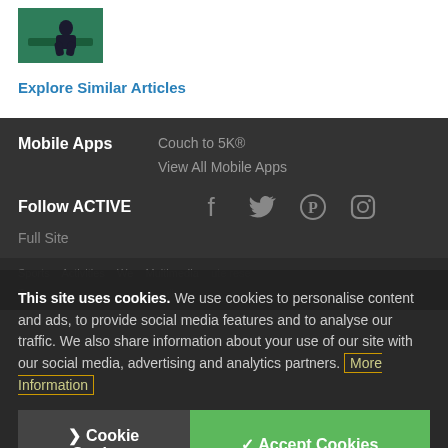[Figure (photo): Thumbnail image of a person on a green yoga mat]
Explore Similar Articles
Mobile Apps
Couch to 5K®
View All Mobile Apps
Follow ACTIVE
Full Site
This site uses cookies. We use cookies to personalise content and ads, to provide social media features and to analyse our traffic. We also share information about your use of our site with our social media, advertising and analytics partners. More Information
❯ Cookie Settings
✓ Accept Cookies